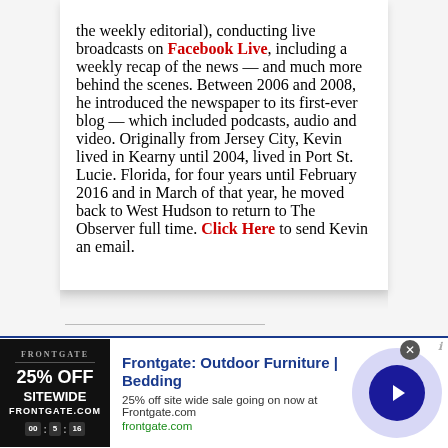the weekly editorial), conducting live broadcasts on Facebook Live, including a weekly recap of the news — and much more behind the scenes. Between 2006 and 2008, he introduced the newspaper to its first-ever blog — which included podcasts, audio and video. Originally from Jersey City, Kevin lived in Kearny until 2004, lived in Port St. Lucie. Florida, for four years until February 2016 and in March of that year, he moved back to West Hudson to return to The Observer full time. Click Here to send Kevin an email.
Share this story using:
[Figure (other): Social share buttons: Facebook, Twitter, LinkedIn, Print]
Related Stories
[Figure (other): Advertisement banner: Frontgate: Outdoor Furniture | Bedding. 25% off site wide sale going on now at Frontgate.com. frontgate.com]